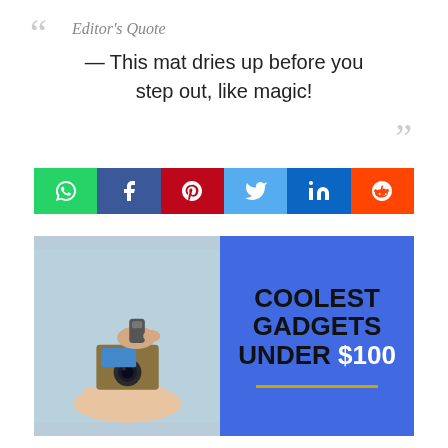“ Editor's Quote — This mat dries up before you step out, like magic! ”
[Figure (infographic): Row of 6 social media share buttons: WhatsApp (green), Facebook (dark blue), Pinterest (red), Twitter (light blue), LinkedIn (blue), Reddit (orange)]
[Figure (infographic): Left half: photo of hands holding a small retro camera gadget with blue screen. Right half: blue background with bold text 'COOLEST GADGETS UNDER $100' and a yellow/gold horizontal line beneath.]